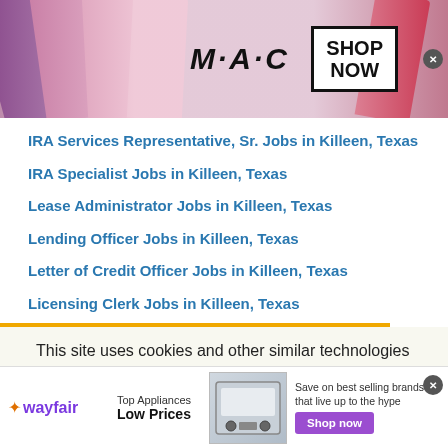[Figure (photo): MAC cosmetics advertisement banner showing colorful lipsticks on left, MAC logo in center, and a 'SHOP NOW' box on the right, with a close button.]
IRA Services Representative, Sr. Jobs in Killeen, Texas
IRA Specialist Jobs in Killeen, Texas
Lease Administrator Jobs in Killeen, Texas
Lending Officer Jobs in Killeen, Texas
Letter of Credit Officer Jobs in Killeen, Texas
Licensing Clerk Jobs in Killeen, Texas
This site uses cookies and other similar technologies to provide site functionality, analyze traffic and usage, and
[Figure (infographic): Wayfair advertisement banner with wayfair logo, 'Top Appliances Low Prices' text, image of a stove/oven appliance, 'Save on best selling brands that live up to the hype' text, and a purple 'Shop now' button.]